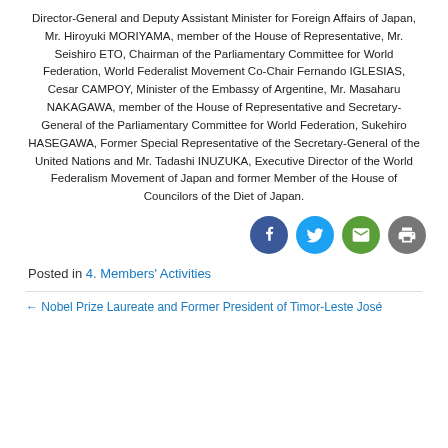Director-General and Deputy Assistant Minister for Foreign Affairs of Japan, Mr. Hiroyuki MORIYAMA, member of the House of Representative, Mr. Seishiro ETO, Chairman of the Parliamentary Committee for World Federation, World Federalist Movement Co-Chair Fernando IGLESIAS, Cesar CAMPOY, Minister of the Embassy of Argentine, Mr. Masaharu NAKAGAWA, member of the House of Representative and Secretary-General of the Parliamentary Committee for World Federation, Sukehiro HASEGAWA, Former Special Representative of the Secretary-General of the United Nations and Mr. Tadashi INUZUKA, Executive Director of the World Federalism Movement of Japan and former Member of the House of Councilors of the Diet of Japan.
[Figure (infographic): Four social sharing icon circles: Facebook (dark blue), Twitter (light blue), Email (green), Print (gray)]
Posted in 4. Members' Activities
← Nobel Prize Laureate and Former President of Timor-Leste José